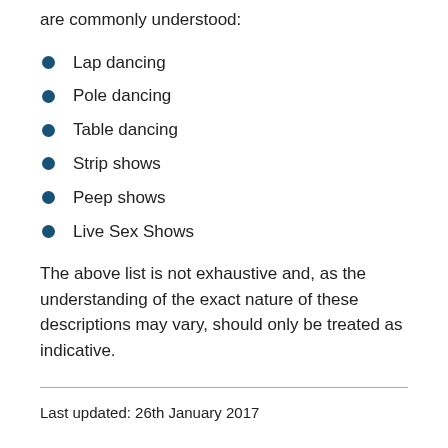are commonly understood:
Lap dancing
Pole dancing
Table dancing
Strip shows
Peep shows
Live Sex Shows
The above list is not exhaustive and, as the understanding of the exact nature of these descriptions may vary, should only be treated as indicative.
Last updated: 26th January 2017